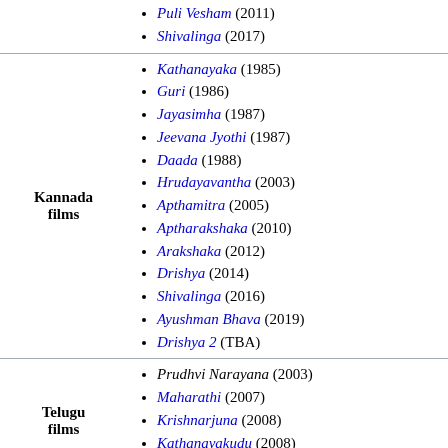Puli Vesham (2011)
Shivalinga (2017)
Kannada films
Kathanayaka (1985)
Guri (1986)
Jayasimha (1987)
Jeevana Jyothi (1987)
Daada (1988)
Hrudayavantha (2003)
Apthamitra (2005)
Aptharakshaka (2010)
Arakshaka (2012)
Drishya (2014)
Shivalinga (2016)
Ayushman Bhava (2019)
Drishya 2 (TBA)
Telugu films
Prudhvi Narayana (2003)
Maharathi (2007)
Krishnarjuna (2008)
Kathanayakudu (2008)
Nagavalli (2010)
Hindi films
Hogi Pyaar Ki Jeet (1999)